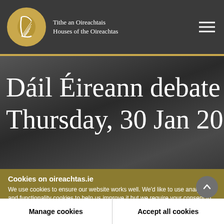Tithe an Oireachtais
Houses of the Oireachtas
Dáil Éireann debate - Thursday, 30 Jan 2014
Cookies on oireachtas.ie
We use cookies to ensure our website works well. We'd like to use analytics and functionality cookies to help us improve it but we require your consent to do so. If you don't consent, only necessary cookies will be used. Read more about our cookies
Manage cookies
Accept all cookies